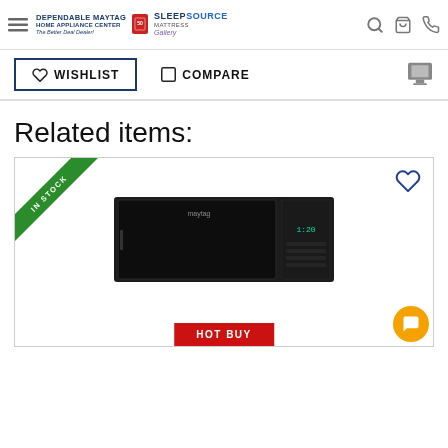Dependable Maytag Home Appliance Center / Sleep Source Mattress Gallery – site navigation header
WISHLIST   COMPARE
Related items:
[Figure (photo): Product card showing a Whirlpool over-the-range microwave in black stainless steel finish, with an IN STOCK green ribbon badge in the upper-left corner, a wishlist heart icon in the upper-right, and a HOT BUY red button partially visible at the bottom.]